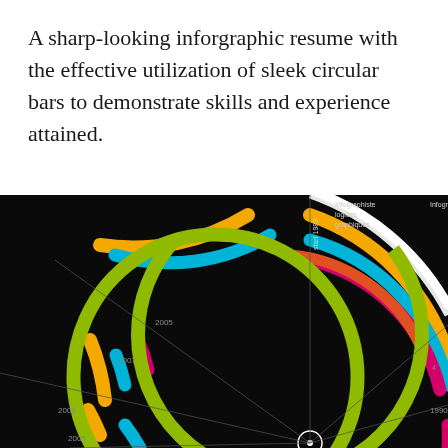A sharp-looking inforgraphic resume with the effective utilization of sleek circular bars to demonstrate skills and experience attained.
[Figure (infographic): A circular radial bar chart infographic on a black background showing skills and experience timeline using concentric arcs in multiple colors: white (outermost), orange, cyan/teal, green-yellow, magenta/pink, and orange-red. Year labels (2005, 2007, 2008, 1989, 1990) and skill labels (infographiste, logices graphiques, Infographiste) are shown as white text with leader lines radiating from a central white circle dot.]